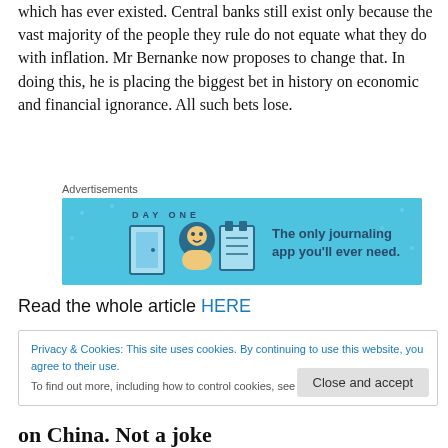which has ever existed. Central banks still exist only because the vast majority of the people they rule do not equate what they do with inflation. Mr Bernanke now proposes to change that. In doing this, he is placing the biggest bet in history on economic and financial ignorance. All such bets lose.
[Figure (advertisement): Day One journaling app advertisement banner with blue background, icons of a door, person, and notepad, with text 'DAY ONE' and 'The only journaling app you'll ever need.']
Read the whole article HERE
Privacy & Cookies: This site uses cookies. By continuing to use this website, you agree to their use.
To find out more, including how to control cookies, see here: Cookie Policy
on China. Not a joke